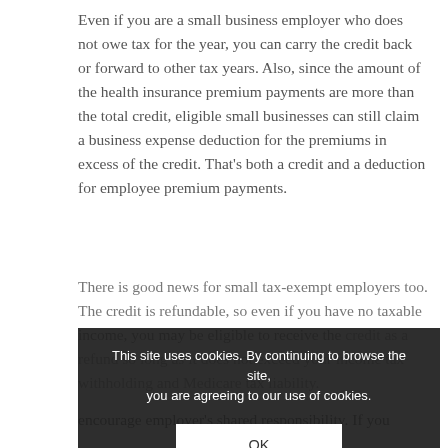Even if you are a small business employer who does not owe tax for the year, you can carry the credit back or forward to other tax years. Also, since the amount of the health insurance premium payments are more than the total credit, eligible small businesses can still claim a business expense deduction for the premiums in excess of the credit. That's both a credit and a deduction for employee premium payments.
There is good news for small tax-exempt employers too. The credit is refundable, so even if you have no taxable income, you may be eligible to receive the credit as a refund so long as it does not exceed your income tax withholding and Medicare tax liability.
This credit was provided by the Patient Protection and Affordable Care (PPACA) Act of a design to reform the United States health care system and encourage employer's shared responsibility. If you
[Figure (screenshot): Cookie consent overlay with dark semi-transparent background. Text reads: 'This site uses cookies. By continuing to browse the site, you are agreeing to our use of cookies.' with an OK button below.]